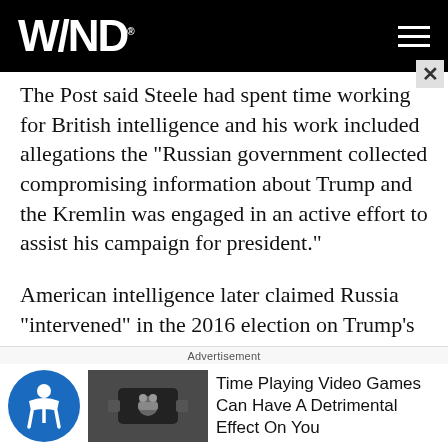WND
The Post said Steele had spent time working for British intelligence and his work included allegations the "Russian government collected compromising information about Trump and the Kremlin was engaged in an active effort to assist his campaign for president."
American intelligence later claimed Russia "intervened" in the 2016 election on Trump's behalf.
The president has charged that the claims are false.
The report, again citing "people familiar" with the issue
[Figure (other): Advertisement banner: accessibility icon, video game thumbnail image, text 'Time Playing Video Games Can Have A Detrimental Effect On You']